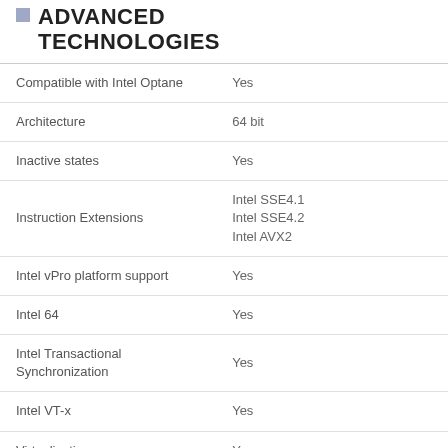ADVANCED TECHNOLOGIES
| Feature | Value |
| --- | --- |
| Compatible with Intel Optane | Yes |
| Architecture | 64 bit |
| Inactive states | Yes |
| Instruction Extensions | Intel SSE4.1
Intel SSE4.2
Intel AVX2 |
| Intel vPro platform support | Yes |
| Intel 64 | Yes |
| Intel Transactional Synchronization | Yes |
| Intel VT-x | Yes |
| Virtualization | Yes |